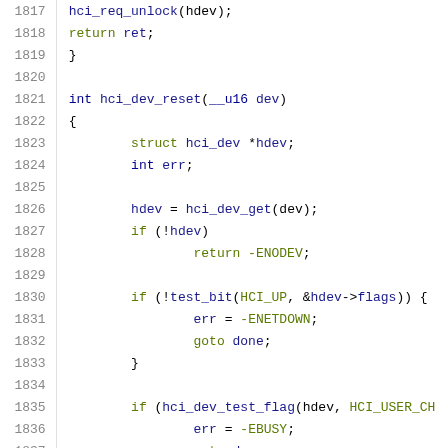Source code listing, lines 1817-1838, C programming language, HCI device reset function